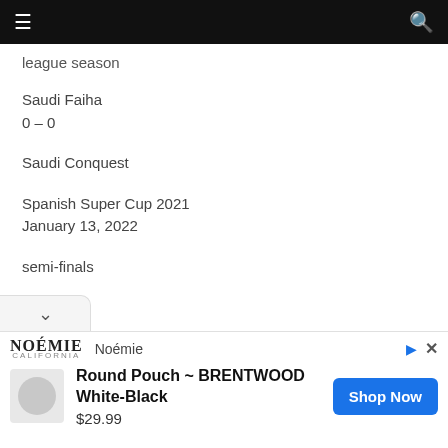Navigation bar with hamburger menu and search icon
league season
Saudi Faiha
0 – 0
Saudi Conquest
Spanish Super Cup 2021
January 13, 2022
semi-finals
[Figure (other): Dropdown chevron button (collapse/expand toggle)]
[Figure (other): Advertisement banner: NOÉMIE brand logo and 'Noémie' text, with play and close icons. Product: Round Pouch ~ BRENTWOOD White-Black, $29.99, Shop Now button.]